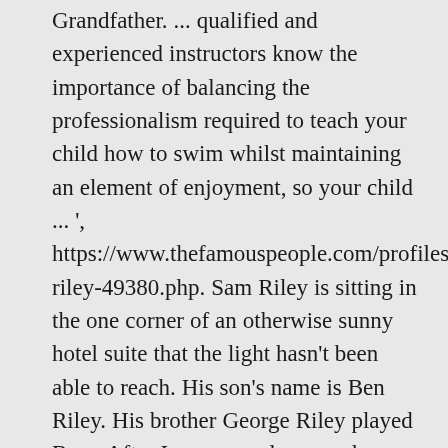Grandfather. ... qualified and experienced instructors know the importance of balancing the professionalism required to teach your child how to swim whilst maintaining an element of enjoyment, so your child ... ', https://www.thefamouspeople.com/profiles/sam-riley-49380.php. Sam Riley is sitting in the one corner of an otherwise sunny hotel suite that the light hasn't been able to reach. His son's name is Ben Riley. His brother George Riley played Bass. After Irene passed away when Sam was an infant, his grandparents brought him up on their 200 acre farm. ', Riley's performance as Curtis caught the attention of filmmaker Gerald McMorrow, who signed him to play